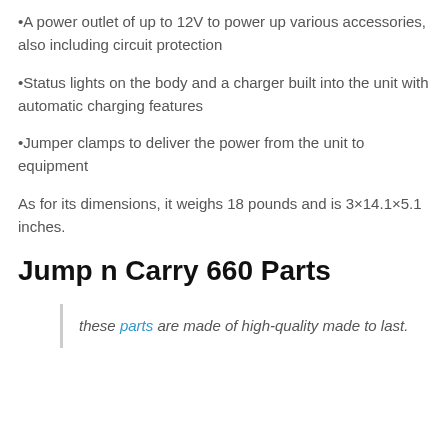•A power outlet of up to 12V to power up various accessories, also including circuit protection
•Status lights on the body and a charger built into the unit with automatic charging features
•Jumper clamps to deliver the power from the unit to equipment
As for its dimensions, it weighs 18 pounds and is 3×14.1×5.1 inches.
Jump n Carry 660 Parts
these parts are made of high-quality made to last.